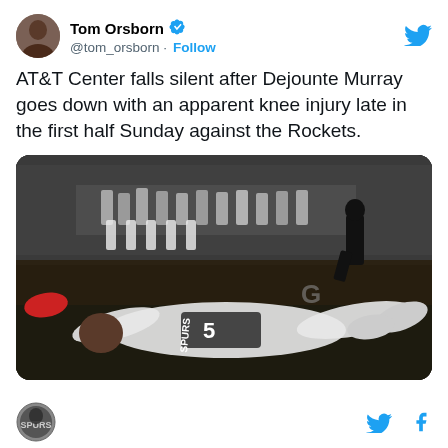Tom Orsborn @tom_orsborn · Follow
AT&T Center falls silent after Dejounte Murray goes down with an apparent knee injury late in the first half Sunday against the Rockets.
[Figure (photo): Basketball player wearing San Antonio Spurs #5 jersey lying on the court in apparent pain, with teammates and coaches visible in the background]
[Figure (logo): San Antonio Spurs logo at bottom left]
[Figure (logo): Twitter bird icon and Facebook f icon at bottom right]